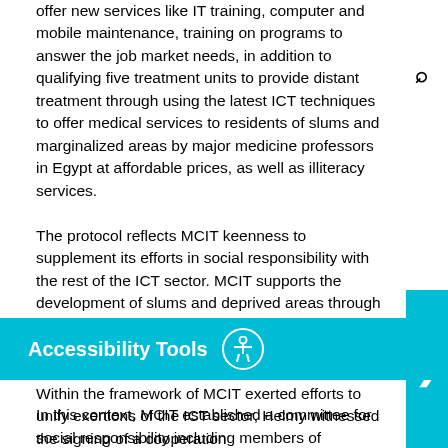offer new services like IT training, computer and mobile maintenance, training on programs to answer the job market needs, in addition to qualifying five treatment units to provide distant treatment through using the latest ICT techniques to offer medical services to residents of slums and marginalized areas by major medicine professors in Egypt at affordable prices, as well as illiteracy services.

The protocol reflects MCIT keenness to supplement its efforts in social responsibility with the rest of the ICT sector. MCIT supports the development of slums and deprived areas through its strategy of social responsibility launched in December 2013 with the participation of ICT companies and civil society organizations.

In this context, MCIT established a committee for social responsibility including members of companies and civil society. The committee is in charge of implementing several projects related to social responsibility under MCIT supervision and in cooperation with companies like Eitesalat-Misr which takes part in this protocol by providing community centers with computers, Cisco which provides a package of training programs  and IBM
Within the framework of MCIT exerted efforts to unify exertions of the ICT sector, Helmy witnessed the signing of a cooperation